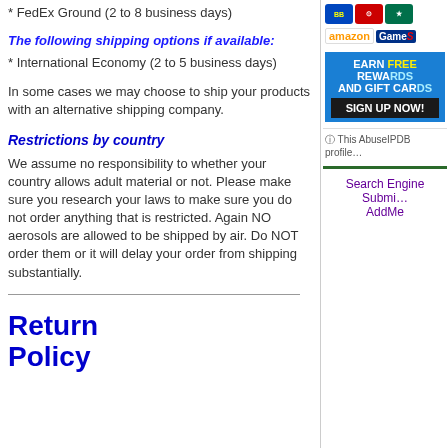* FedEx Ground (2 to 8 business days)
The following shipping options if available:
* International Economy (2 to 5 business days)
In some cases we may choose to ship your products with an alternative shipping company.
Restrictions by country
We assume no responsibility to whether your country allows adult material or not. Please make sure you research your laws to make sure you do not order anything that is restricted. Again NO aerosols are allowed to be shipped by air. Do NOT order them or it will delay your order from shipping substantially.
Return Policy
[Figure (infographic): Right column with retail logos (Best Buy, Target, Starbucks, Amazon, GameStop), an earn free rewards and gift cards sign up now banner, an AbuseIPDB profile notice, and a Search Engine Submission AddMe link.]